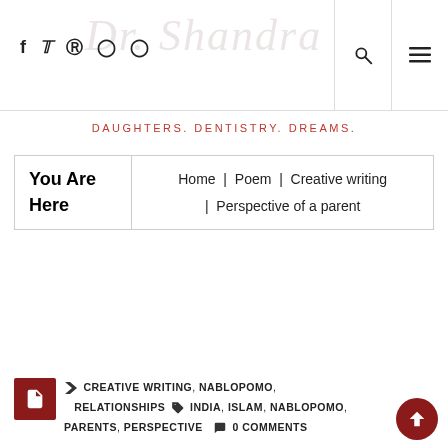Dr. Shandra — social icons: f, Twitter, Pinterest, Instagram, Instagram — search and menu buttons
DAUGHTERS. DENTISTRY. DREAMS.
| You Are Here | Home | Poem | Creative writing | Perspective of a parent |
CREATIVE WRITING, NABLOPOMO, RELATIONSHIPS  INDIA, ISLAM, NABLOPOMO, PARENTS, PERSPECTIVE  0 COMMENTS